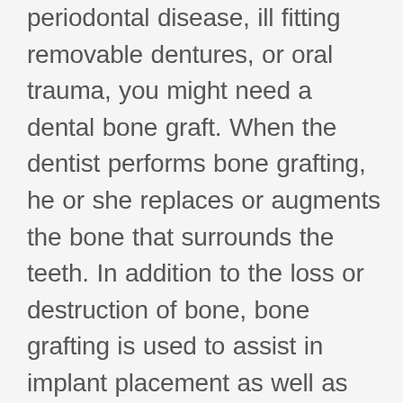periodontal disease, ill fitting removable dentures, or oral trauma, you might need a dental bone graft. When the dentist performs bone grafting, he or she replaces or augments the bone that surrounds the teeth. In addition to the loss or destruction of bone, bone grafting is used to assist in implant placement as well as helping improve the comfort and fit of removable prostheses. Bone grafting can also be used to improve the aesthetics when a tooth is missing in a patient's smile zone.